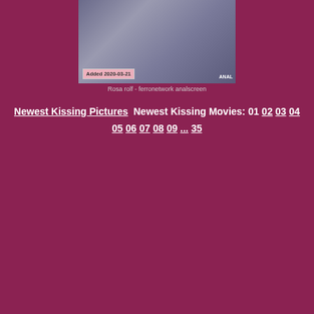[Figure (photo): Two people sitting on a couch. Added 2020-03-21 badge visible. ANAL label in corner.]
Rosa rolf - ferronetwork analscreen
Newest Kissing Pictures  Newest Kissing Movies: 01 02 03 04 05 06 07 08 09 ... 35